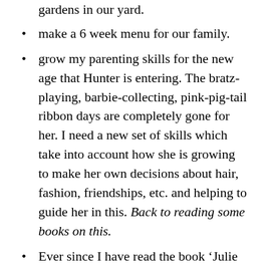gardens in our yard.
make a 6 week menu for our family.
grow my parenting skills for the new age that Hunter is entering. The bratz-playing, barbie-collecting, pink-pig-tail ribbon days are completely gone for her. I need a new set of skills which take into account how she is growing to make her own decisions about hair, fashion, friendships, etc. and helping to guide her in this. Back to reading some books on this.
Ever since I have read the book ‘Julie & Julia: 365 days, 524 Recipes and 1 Tiny Apartment Kitchen’, I have been intrigued by the idea of taking a favorite cookbook and making every single recipe in the book. I love to cook and this is one way of forcing one outside of the comfort zone. I think I